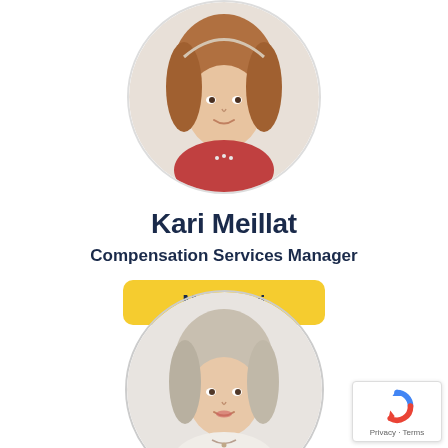[Figure (photo): Circular portrait photo of Kari Meillat, a woman with long brown hair, smiling, wearing a patterned top]
Kari Meillat
Compensation Services Manager
Meet Kari
[Figure (photo): Circular portrait photo of a woman with short gray-blonde hair, smiling, wearing a light floral top with a necklace]
[Figure (logo): reCAPTCHA badge with Google reCAPTCHA logo and Privacy - Terms text]